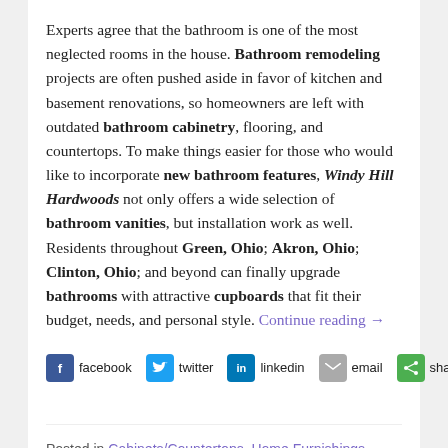Experts agree that the bathroom is one of the most neglected rooms in the house. Bathroom remodeling projects are often pushed aside in favor of kitchen and basement renovations, so homeowners are left with outdated bathroom cabinetry, flooring, and countertops. To make things easier for those who would like to incorporate new bathroom features, Windy Hill Hardwoods not only offers a wide selection of bathroom vanities, but installation work as well. Residents throughout Green, Ohio; Akron, Ohio; Clinton, Ohio; and beyond can finally upgrade bathrooms with attractive cupboards that fit their budget, needs, and personal style. Continue reading →
[Figure (infographic): Social share buttons: facebook, twitter, linkedin, email, sharethis]
Posted in Cabinets/Countertops, Home Furnishings, Home Improvement, Kitchen & Baths | Tagged bathroom cabinetry Green Akron Clinton Ohio, bathroom cupboards Green Akron Clinton Ohio, bathroom remodeling Green Akron Clinton Ohio, bathroom vanities Green Akron